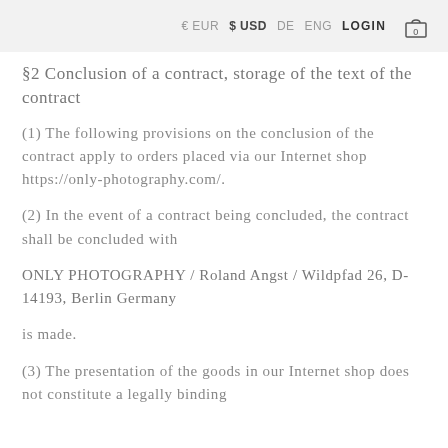€EUR $USD DE ENG LOGIN 0
§2 Conclusion of a contract, storage of the text of the contract
(1) The following provisions on the conclusion of the contract apply to orders placed via our Internet shop https://only-photography.com/.
(2) In the event of a contract being concluded, the contract shall be concluded with
ONLY PHOTOGRAPHY / Roland Angst / Wildpfad 26, D-14193, Berlin Germany
is made.
(3) The presentation of the goods in our Internet shop does not constitute a legally binding